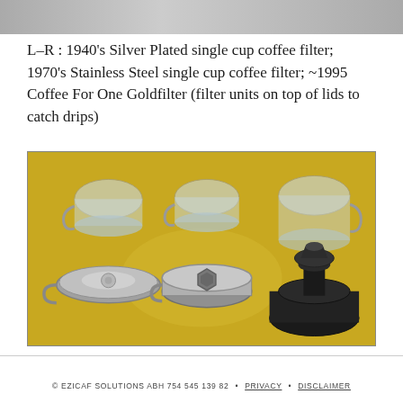[Figure (photo): Top partial photo strip showing coffee filter equipment on a surface, cropped at the top of the page.]
L–R : 1940's Silver Plated single cup coffee filter; 1970's Stainless Steel single cup coffee filter; ~1995 Coffee For One Goldfilter (filter units on top of lids to catch drips)
[Figure (photo): Photograph of three vintage single-cup coffee filters arranged on a yellow surface. Left: 1940s silver plated filter with round lid and cup. Center: 1970s stainless steel filter with hexagonal mesh visible inside. Right: ~1995 Coffee For One Goldfilter with black plastic drip catcher on top. Glass cups are visible above each filter unit.]
© EZICAF SOLUTIONS ABH 754 545 139 82 • PRIVACY • DISCLAIMER